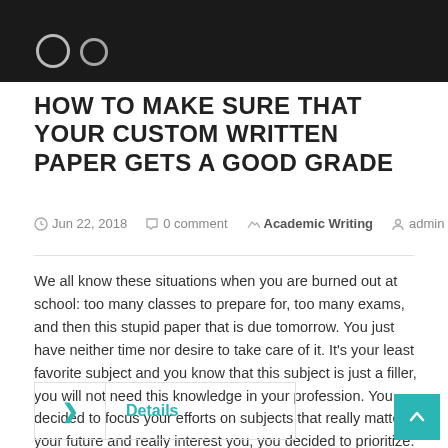[Figure (photo): Dark/black background image with two white outline circles visible at the bottom]
HOW TO MAKE SURE THAT YOUR CUSTOM WRITTEN PAPER GETS A GOOD GRADE
Jun 22, 2018  0 comment  Academic Writing  admin
We all know these situations when you are burned out at school: too many classes to prepare for, too many exams, and then this stupid paper that is due tomorrow. You just have neither time nor desire to take care of it. It's your least favorite subject and you know that this subject is just a filler, you will not need this knowledge in your profession. You decided to focus your efforts on subjects that really matter to your future and really interest you, you decided to prioritize.
> Details